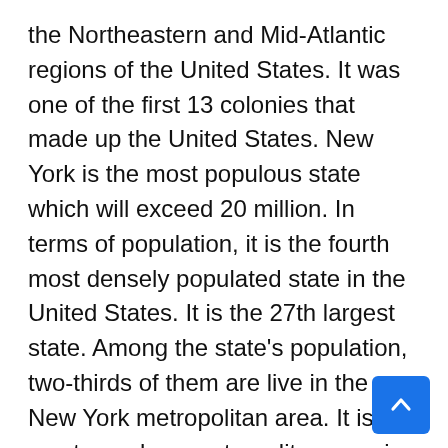the Northeastern and Mid-Atlantic regions of the United States. It was one of the first 13 colonies that made up the United States. New York is the most populous state which will exceed 20 million. In terms of population, it is the fourth most densely populated state in the United States. It is the 27th largest state. Among the state's population, two-thirds of them are live in the New York metropolitan area. It is the most populous metropolitan area in the world. The state is bordered by Connecticut, Massachusetts, and Vermont to the east and New Jersey and Pennsylvania to the south. It has a maritime border with Rhode Island to the east of Long Island, Ontario, Canada to the northwest and Quebec, Canada to the north. This article will provide you with valuable information about universities in New York.